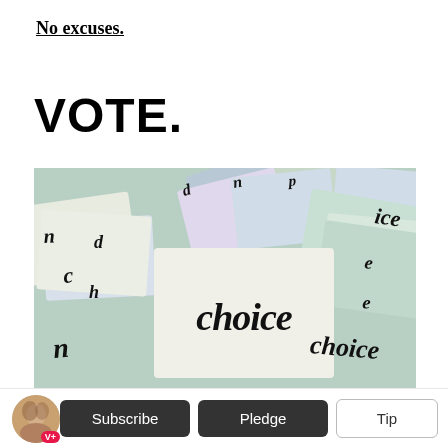No excuses.
VOTE.
[Figure (photo): A pile of pastel-colored cards with the word 'choice' written in cursive script. Cards are in cream, lavender, and mint green colors, stacked and overlapping, all printed with the word 'choice' in black handwritten lettering.]
V+  Subscribe  Pledge  Tip